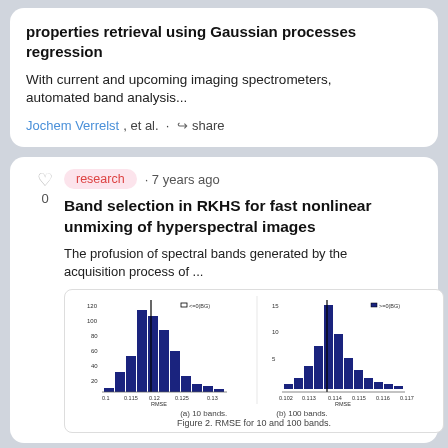properties retrieval using Gaussian processes regression
With current and upcoming imaging spectrometers, automated band analysis...
Jochem Verrelst, et al. · share
research · 7 years ago
Band selection in RKHS for fast nonlinear unmixing of hyperspectral images
The profusion of spectral bands generated by the acquisition process of ...
[Figure (histogram): Two histograms of RMSE for 10 and 100 bands. Left histogram shows distribution for 10 bands, right shows distribution for 100 bands. Both have dark blue bars and a vertical line marker. Caption reads: Figure 2. RMSE for 10 and 100 bands.]